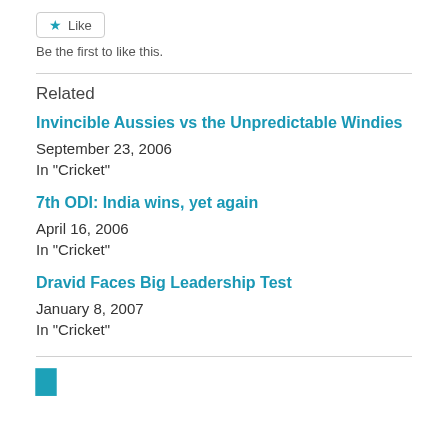[Figure (other): Like button with star icon]
Be the first to like this.
Related
Invincible Aussies vs the Unpredictable Windies
September 23, 2006
In "Cricket"
7th ODI: India wins, yet again
April 16, 2006
In "Cricket"
Dravid Faces Big Leadership Test
January 8, 2007
In "Cricket"